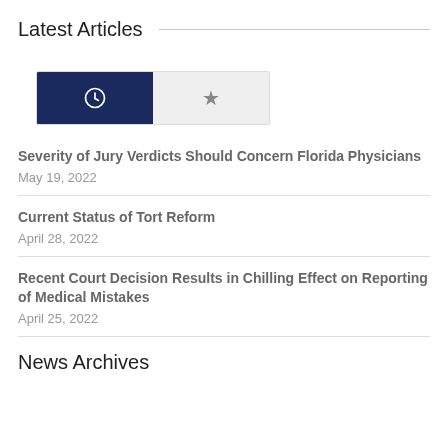Latest Articles
[Figure (other): Tab selector with two tabs: a clock icon (active, dark navy background) and a star icon (inactive, light gray background)]
Severity of Jury Verdicts Should Concern Florida Physicians
May 19, 2022
Current Status of Tort Reform
April 28, 2022
Recent Court Decision Results in Chilling Effect on Reporting of Medical Mistakes
April 25, 2022
News Archives